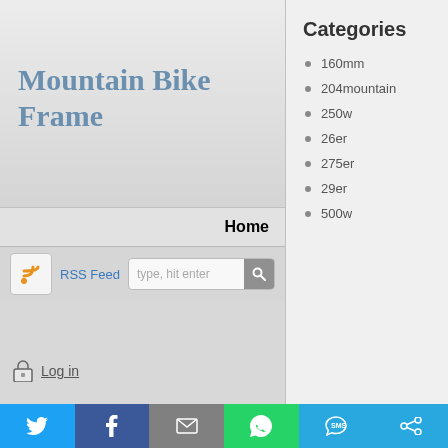Mountain Bike Frame
Home
[Figure (screenshot): RSS Feed icon (orange signal waves on white background)]
RSS Feed  type, hit enter
Log in
Categories
160mm
204mountain
250w
26er
275er
29er
500w
[Figure (infographic): Social share bar with Twitter, Facebook, Email, WhatsApp, SMS, and Share icons]